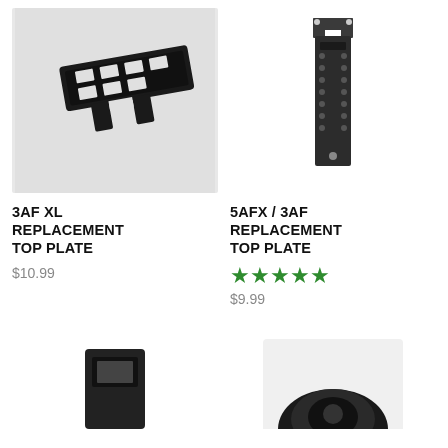[Figure (photo): Carbon fiber replacement top plate for 3AF XL drone frame, elongated dark plate with cutouts]
[Figure (photo): Carbon fiber replacement top plate for 5AFX/3AF drone frame, narrow vertical plate with holes]
3AF XL REPLACEMENT TOP PLATE
$10.99
5AFX / 3AF REPLACEMENT TOP PLATE
★★★★★
$9.99
[Figure (photo): Small black square drone part, partially visible at bottom of page]
[Figure (photo): Black circular drone motor or hub component, partially visible at bottom of page]